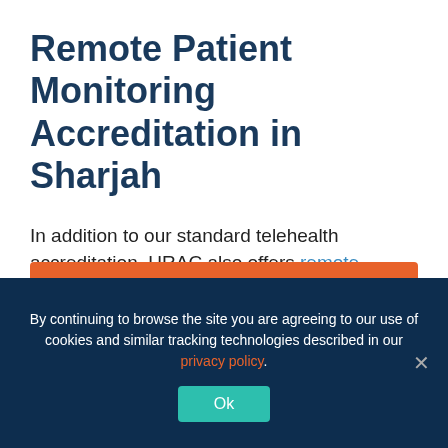Remote Patient Monitoring Accreditation in Sharjah
In addition to our standard telehealth accreditation, URAC also offers remote patient monitoring (RPM) accreditation in Sharjah. RPM refers to health care providers communicating with patients at home or in remote locations to provide health care services. Organizations with an RPM program allow patients with more severe health conditions better access to health care...
By continuing to browse the site you are agreeing to our use of cookies and similar tracking technologies described in our privacy policy.